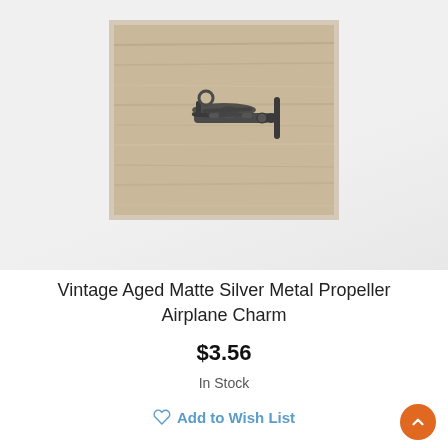[Figure (photo): A vintage aged matte silver metal propeller airplane charm on a wooden surface background, with a hexagonal pattern overlay in the lower portion of the image area.]
Vintage Aged Matte Silver Metal Propeller Airplane Charm
$3.56
In Stock
Add to Wish List